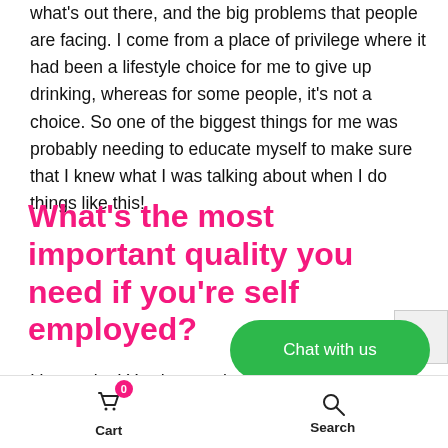what's out there, and the big problems that people are facing. I come from a place of privilege where it had been a lifestyle choice for me to give up drinking, whereas for some people, it's not a choice. So one of the biggest things for me was probably needing to educate myself to make sure that I knew what I was talking about when I do things like this!
What's the most important quality you need if you're self employed?
It's passion! You have to be passionate. If you don't care enough about what you're doing, you'll find it boring and it will be hard work. You need a personal reason to grow your business or project.